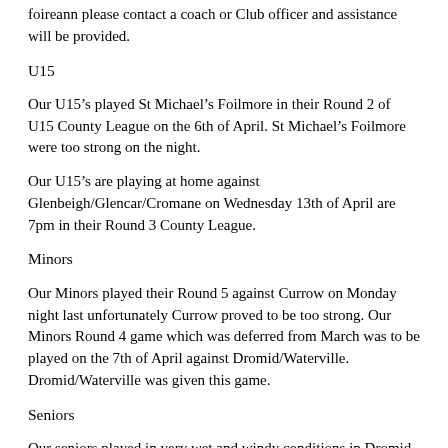foireann please contact a coach or Club officer and assistance will be provided.
U15
Our U15’s played St Michael’s Foilmore in their Round 2 of U15 County League on the 6th of April. St Michael’s Foilmore were too strong on the night.
Our U15’s are playing at home against Glenbeigh/Glencar/Cromane on Wednesday 13th of April are 7pm in their Round 3 County League.
Minors
Our Minors played their Round 5 against Currow on Monday night last unfortunately Currow proved to be too strong. Our Minors Round 4 game which was deferred from March was to be played on the 7th of April against Dromid/Waterville. Dromid/Waterville was given this game.
Seniors
Our seniors played in very wet and windy conditions in Dromid last Sunday. Dromid Pearse were the ones to open the scoring with two points. When it came time for St Pats to put a score on the board it was David O Callaghan who stepped up and put two points over the goalposts one after another.
Dromid replied with a goal as the game progressed Fergal O Brien fought with the wind to add another point to the board from a free. As time ticked down to